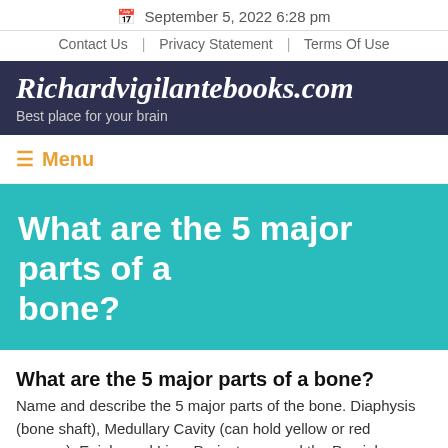📅 September 5, 2022 6:28 pm
Contact Us | Privacy Statement | Terms Of Use
Richardvigilantebooks.com
Best place for your brain
≡ Menu
What are the 5 major parts of a bone?
What are the 5 major parts of a bone?
Name and describe the 5 major parts of the bone. Diaphysis (bone shaft), Medullary Cavity (can hold yellow or red marrow), Epiphyseal Line, Periosteum, and the Proxial Epiphysis and the Distal Epiphysis.